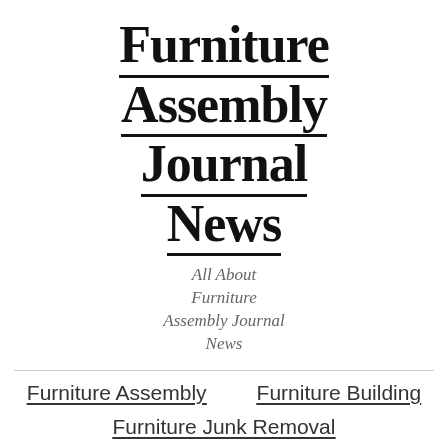Furniture Assembly Journal News
All About Furniture Assembly Journal News
Furniture Assembly
Furniture Building
Furniture Junk Removal
Home Theater Installation
News
Places We Service